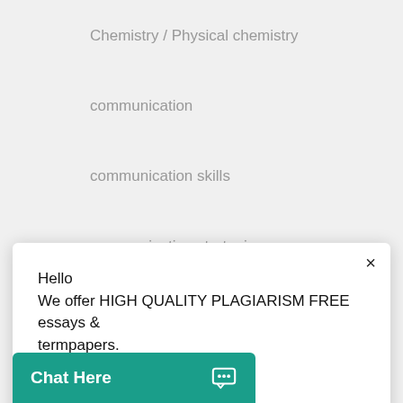Chemistry / Physical chemistry
communication
communication skills
communication strategies
communications
computer science
design analysis
[Figure (screenshot): Chat popup overlay with close button (×), message 'Hello We offer HIGH QUALITY PLAGIARISM FREE essays & termpapers. Chat...' and a teal 'Chat Here' button at bottom left with chat icon]